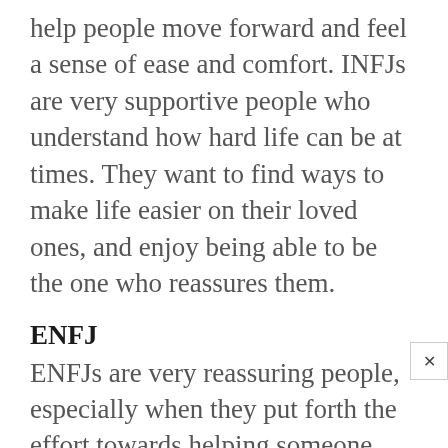help people move forward and feel a sense of ease and comfort. INFJs are very supportive people who understand how hard life can be at times. They want to find ways to make life easier on their loved ones, and enjoy being able to be the one who reassures them.
ENFJ
ENFJs are very reassuring people, especially when they put forth the effort towards helping someone. Their main focus is to take care of their loved ones and work to make them as happy as possible. ENFJs are very people focused, and they